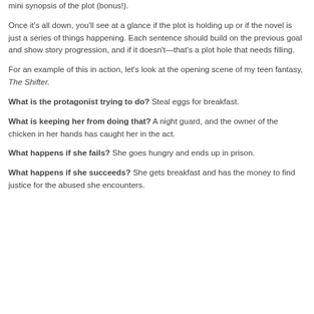mini synopsis of the plot (bonus!).
Once it's all down, you'll see at a glance if the plot is holding up or if the novel is just a series of things happening. Each sentence should build on the previous goal and show story progression, and if it doesn't—that's a plot hole that needs filling.
For an example of this in action, let's look at the opening scene of my teen fantasy, The Shifter.
What is the protagonist trying to do? Steal eggs for breakfast.
What is keeping her from doing that? A night guard, and the owner of the chicken in her hands has caught her in the act.
What happens if she fails? She goes hungry and ends up in prison.
What happens if she succeeds? She gets breakfast and has the money to find justice for the abused she encounters.